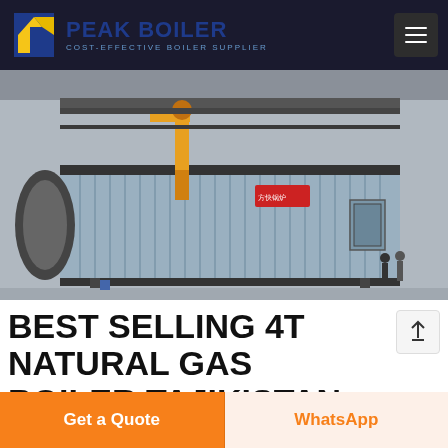[Figure (logo): Peak Boiler logo with blue/yellow diamond arrow icon and text 'PEAK BOILER - COST-EFFECTIVE BOILER SUPPLIER' on dark background]
[Figure (photo): Industrial natural gas boiler unit with corrugated metal casing, yellow gas pipes, and machinery in a factory/warehouse setting]
BEST SELLING 4T NATURAL GAS BOILER TAJIKISTAN
Best Selling 4t Natural Gas Boiler Tajikistan. Dealer
Get a Quote
WhatsApp